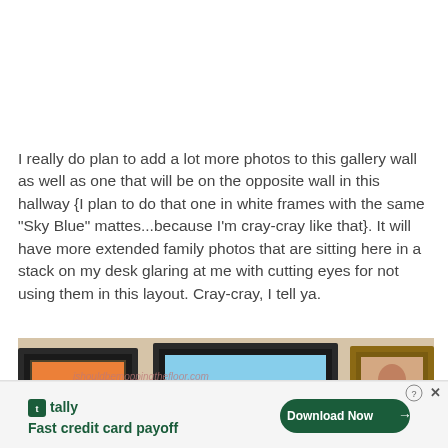I really do plan to add a lot more photos to this gallery wall as well as one that will be on the opposite wall in this hallway {I plan to do that one in white frames with the same "Sky Blue" mattes...because I'm cray-cray like that}. It will have more extended family photos that are sitting here in a stack on my desk glaring at me with cutting eyes for not using them in this layout. Cray-cray, I tell ya.
[Figure (photo): Gallery wall with framed photos in dark and gold frames mounted on a beige/cream wall. Watermark text reads ishouldbe mopping thefloor.com]
[Figure (screenshot): Advertisement banner for Tally app: Fast credit card payoff. Green Download Now button with arrow. Close X and help icon in top right.]